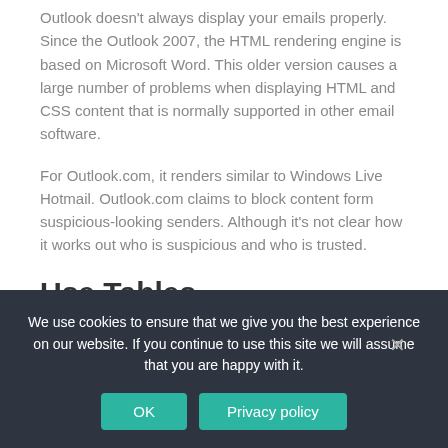Outlook doesn't always display your emails properly. Since the Outlook 2007, the HTML rendering engine is based on Microsoft Word. This older version causes a large number of problems when displaying HTML and CSS content that is normally supported in other email software.
For Outlook.com, it renders similar to Windows Live Hotmail. Outlook.com claims to block content form suspicious-looking senders. Although it's not clear how it works out who is suspicious and who is trusted.
Use Tables
When creating marketing emails. You can use tables to structure the layout of your templates, centering elements
We use cookies to ensure that we give you the best experience on our website. If you continue to use this site we will assume that you are happy with it.